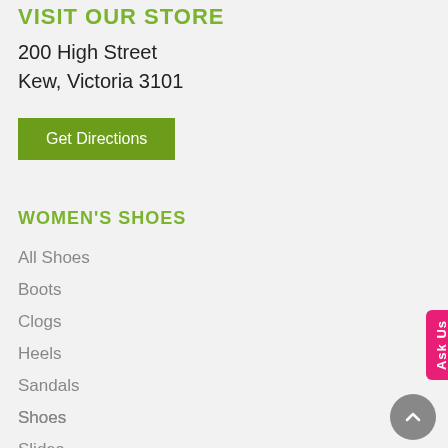VISIT OUR STORE
200 High Street
Kew, Victoria 3101
Get Directions
WOMEN'S SHOES
All Shoes
Boots
Clogs
Heels
Sandals
Shoes
Slides
Wedges